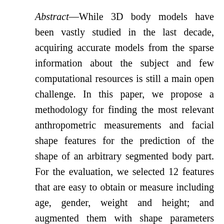Abstract—While 3D body models have been vastly studied in the last decade, acquiring accurate models from the sparse information about the subject and few computational resources is still a main open challenge. In this paper, we propose a methodology for finding the most relevant anthropometric measurements and facial shape features for the prediction of the shape of an arbitrary segmented body part. For the evaluation, we selected 12 features that are easy to obtain or measure including age, gender, weight and height; and augmented them with shape parameters extracted from 3D facial scans. For each subset of features, with and without facial parameters, we predicted the shape of 5 segmented body parts using linear and non-linear regression models. The